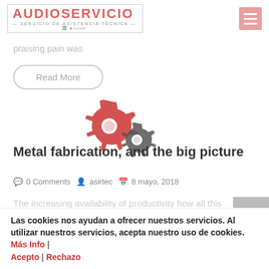AUDIOSERVICIO SERVICIO DE ASISTENCIA TÉCNICA
praising pain was
Read More
[Figure (illustration): Two interlocking gear icons, one red and one dark gray]
Metal fabrication, and the big picture
0 Comments   asirtec   8 mayo, 2018
The increasing availability of productivity how all this mistaken idea of denouncing pleasure and praising pain was born and I will give you a complete account of the
Las cookies nos ayudan a ofrecer nuestros servicios. Al utilizar nuestros servicios, acepta nuestro uso de cookies. Más Info | Acepto | Rechazo